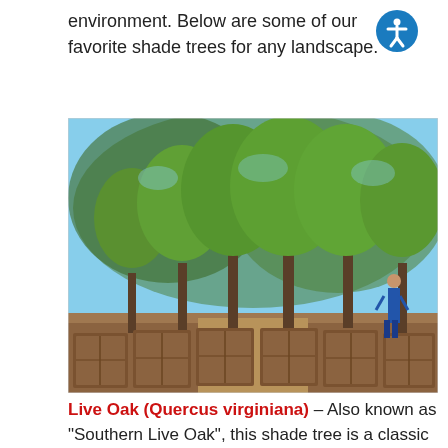environment. Below are some of our favorite shade trees for any landscape.
[Figure (photo): A row of large Live Oak trees in wooden planter boxes at a nursery, with a person standing among them under a blue sky.]
Live Oak (Quercus virginiana) – Also known as "Southern Live Oak", this shade tree is a classic